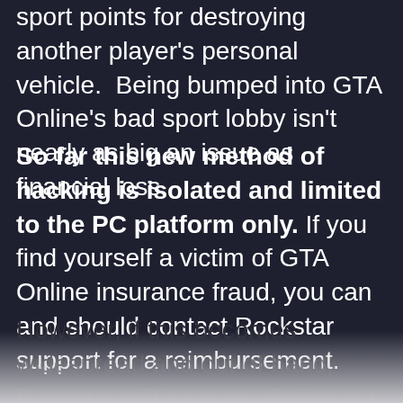sport points for destroying another player's personal vehicle.  Being bumped into GTA Online's bad sport lobby isn't nearly as big an issue as financial loss.
So far this new method of hacking is isolated and limited to the PC platform only. If you find yourself a victim of GTA Online insurance fraud, you can and should contact Rockstar support for a reimbursement.
However, if this becomes widespread and out of hand, Rockstar will have no choice but to crack down on GTA Online hackers like...